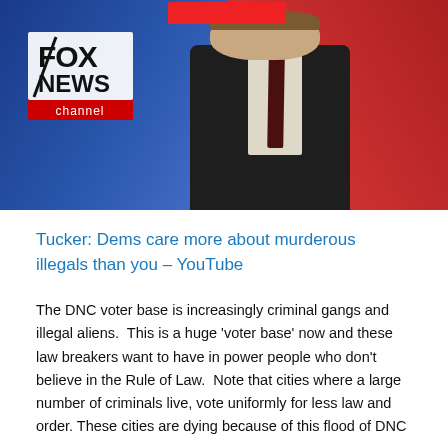[Figure (screenshot): Screenshot of a Fox News channel broadcast showing a male news anchor in a dark suit with a tie, with the Fox News channel logo in the lower left. A red redacted bar covers the anchor's face at the top.]
Tucker: Dems care more about murderous illegals than you – YouTube
The DNC voter base is increasingly criminal gangs and illegal aliens.  This is a huge 'voter base' now and these law breakers want to have in power people who don't believe in the Rule of Law.  Note that cities where a large number of criminals live, vote uniformly for less law and order. These cities are dying because of this flood of DNC